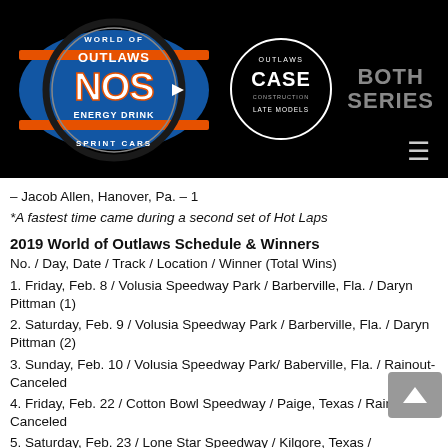[Figure (logo): World of Outlaws NOS Energy Drink Sprint Cars logo on black background]
[Figure (logo): World of Outlaws CASE Construction Late Models logo on black background]
BOTH SERIES
– Jacob Allen, Hanover, Pa. – 1
*A fastest time came during a second set of Hot Laps
2019 World of Outlaws Schedule & Winners
No. / Day, Date / Track / Location / Winner (Total Wins)
1. Friday, Feb. 8 / Volusia Speedway Park / Barberville, Fla. / Daryn Pittman (1)
2. Saturday, Feb. 9 / Volusia Speedway Park / Barberville, Fla. / Daryn Pittman (2)
3. Sunday, Feb. 10 / Volusia Speedway Park/ Baberville, Fla. / Rainout-Canceled
4. Friday, Feb. 22 / Cotton Bowl Speedway / Paige, Texas / Rainout-Canceled
5. Saturday, Feb. 23 / Lone Star Speedway / Kilgore, Texas /